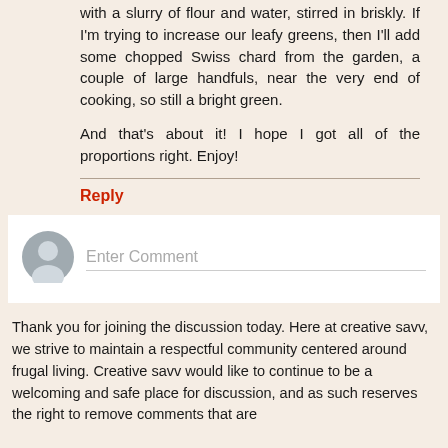with a slurry of flour and water, stirred in briskly. If I'm trying to increase our leafy greens, then I'll add some chopped Swiss chard from the garden, a couple of large handfuls, near the very end of cooking, so still a bright green.
And that's about it! I hope I got all of the proportions right. Enjoy!
Reply
[Figure (other): User avatar silhouette icon (gray circle with person outline) for comment input area]
Enter Comment
Thank you for joining the discussion today. Here at creative savv, we strive to maintain a respectful community centered around frugal living. Creative savv would like to continue to be a welcoming and safe place for discussion, and as such reserves the right to remove comments that are